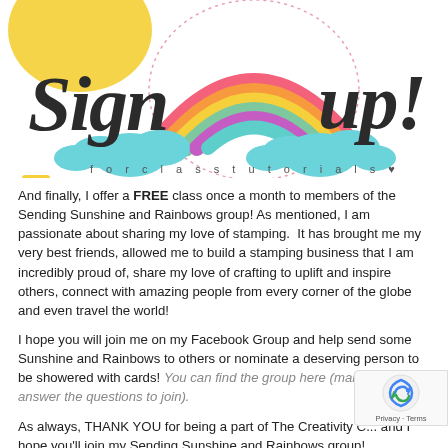[Figure (illustration): Colorful decorative banner reading 'Sign up! for class tutorials' with a hand-lettered style font in dark charcoal/black, rainbow watercolor arc in pink/orange/yellow/green/purple/teal, yellow sun in top-left, teal glittery clouds at bottom, dotted border around rainbow. Text 'for class tutorials' in spaced-out lowercase letters at the bottom of the banner.]
And finally, I offer a FREE class once a month to members of the Sending Sunshine and Rainbows group! As mentioned, I am passionate about sharing my love of stamping.  It has brought me my very best friends, allowed me to build a stamping business that I am incredibly proud of, share my love of crafting to uplift and inspire others, connect with amazing people from every corner of the globe and even travel the world!
I hope you will join me on my Facebook Group and help send some Sunshine and Rainbows to others or nominate a deserving person to be showered with cards! You can find the group here (make sure to answer the questions to join).
As always, THANK YOU for being a part of The Creativity C... and I hope you'll join my Sending Sunshine and Rainbows group!